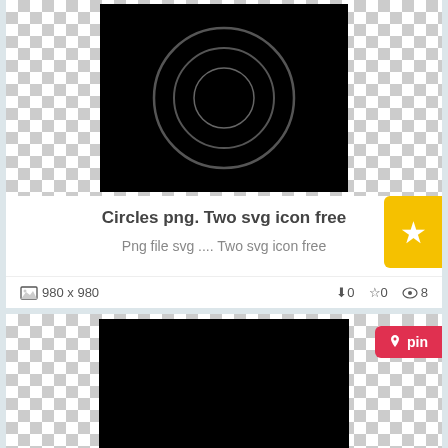[Figure (screenshot): Card showing black background with concentric circles illustration. Title: Circles png. Two svg icon free. Description: Png file svg .... Two svg icon free. Dimensions: 980x980. Stats: 0 downloads, 0 stars, 8 views. Yellow star bookmark button visible.]
Circles png. Two svg icon free
Png file svg .... Two svg icon free
980 x 980  ⬇0  ☆0  👁8
[Figure (screenshot): Card showing solid black rectangle image. Title: Circles png. Circle with two little. Description: Happy Kids PNG File. Circle with two little. Red pin button visible.]
Circles png. Circle with two little
Happy Kids PNG File. Circle with two little